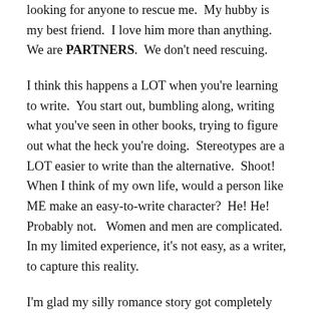looking for anyone to rescue me.  My hubby is my best friend.  I love him more than anything.  We are PARTNERS.  We don't need rescuing.
I think this happens a LOT when you're learning to write.  You start out, bumbling along, writing what you've seen in other books, trying to figure out what the heck you're doing.  Stereotypes are a LOT easier to write than the alternative.  Shoot!  When I think of my own life, would a person like ME make an easy-to-write character?  He! He!  Probably not.   Women and men are complicated.  In my limited experience, it's not easy, as a writer, to capture this reality.
I'm glad my silly romance story got completely torn apart.  I'm glad I'm writing a mother/daughter story instead, but it's certainly hasn't been easy.  Fun?  YES!  I find myself giggling away as I edit.  Of course, that could be the lack